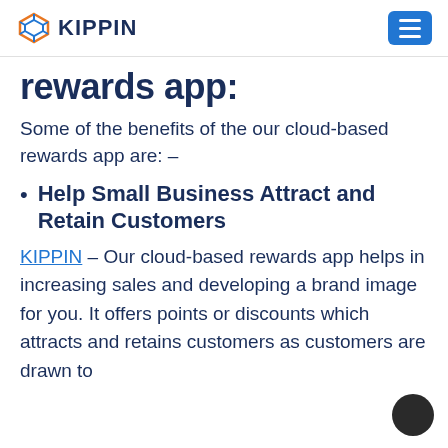KIPPIN
rewards app:
Some of the benefits of the our cloud-based rewards app are: -
Help Small Business Attract and Retain Customers
KIPPIN – Our cloud-based rewards app helps in increasing sales and developing a brand image for you. It offers points or discounts which attracts and retains customers as customers are drawn to